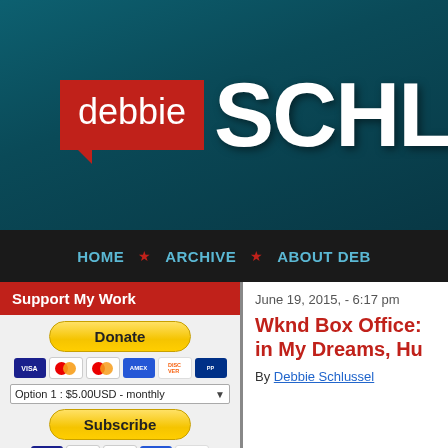[Figure (logo): Debbie Schlussel website logo on teal/dark teal background. Red speech bubble box with 'debbie' text and large white 'SCHLUS' text (truncated).]
HOME ★ ARCHIVE ★ ABOUT DEB
Support My Work
[Figure (infographic): PayPal Donate button (yellow/gold), credit card icons (Visa, Mastercard, Amex, Discover), subscription dropdown Option 1: $5.00USD - monthly, Subscribe button, and card icons below.]
June 19, 2015, - 6:17 pm
Wknd Box Office: in My Dreams, Hu
By Debbie Schlussel